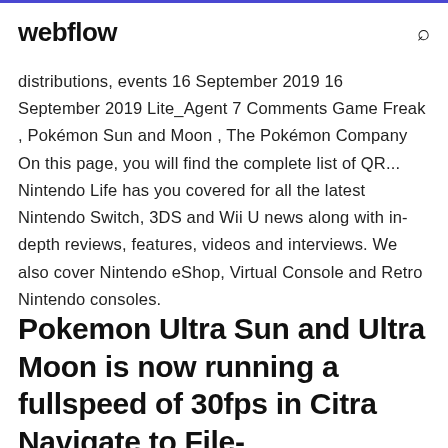webflow
distributions, events 16 September 2019 16 September 2019 Lite_Agent 7 Comments Game Freak , Pokémon Sun and Moon , The Pokémon Company On this page, you will find the complete list of QR... Nintendo Life has you covered for all the latest Nintendo Switch, 3DS and Wii U news along with in-depth reviews, features, videos and interviews. We also cover Nintendo eShop, Virtual Console and Retro Nintendo consoles.
Pokemon Ultra Sun and Ultra Moon is now running a fullspeed of 30fps in Citra Navigate to File-